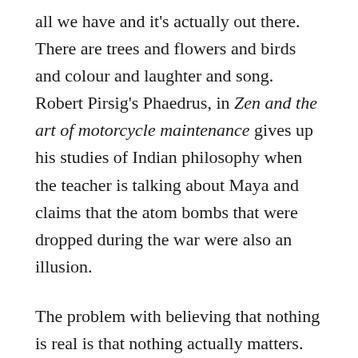all we have and it's actually out there. There are trees and flowers and birds and colour and laughter and song. Robert Pirsig's Phaedrus, in Zen and the art of motorcycle maintenance gives up his studies of Indian philosophy when the teacher is talking about Maya and claims that the atom bombs that were dropped during the war were also an illusion.
The problem with believing that nothing is real is that nothing actually matters. Hesse's Siddhartha engages in business but treats it as a game not something that is important. Making money or losing money